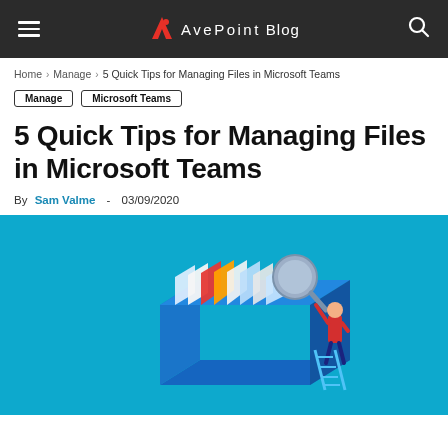AvePoint Blog
Home › Manage › 5 Quick Tips for Managing Files in Microsoft Teams
Manage   Microsoft Teams
5 Quick Tips for Managing Files in Microsoft Teams
By Sam Valme - 03/09/2020
[Figure (illustration): Isometric illustration of a person on a ladder searching through file folders in a large blue filing cabinet using a magnifying glass, on a bright blue background]